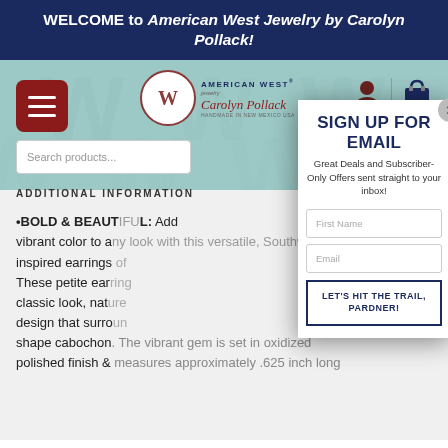WELCOME to American West Jewelry by Carolyn Pollack!
[Figure (screenshot): Screenshot of the American West Jewelry website showing navigation bar with hamburger menu, brand logo, search bar, and user/cart icons on a teal background with a diagonal pattern. Below shows 'ADDITIONAL INFORMATION' section header and partial product description text about bold and beautiful earrings partially obscured by a sign-up modal popup.]
SIGN UP FOR EMAIL
Great Deals and Subscriber-Only Offers sent straight to your inbox!
First Name
Email
LET'S HIT THE TRAIL, PARDNER!
ADDITIONAL INFORMATION
•BOLD & BEAUTIFUL: Add vibrant color to any look with this versatile, Southwest-inspired earrings of... These petite earrings... classic look, nature... design that surrounds... shape cabochon. The vibrant gem is set in oxidized polished finish & measures approximately .625 inch long